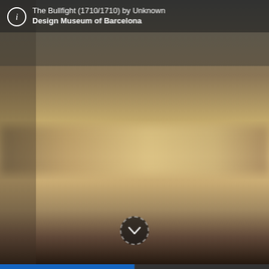[Figure (photo): Blurred/bokeh background image of The Bullfight artwork, showing warm tan and brown tones fading to dark at bottom edges, from the Design Museum of Barcelona]
The Bullfight (1710/1710) by Unknown
Design Museum of Barcelona
[Figure (other): Chevron/down arrow button in a dark circular dashed border at the bottom center of the image]